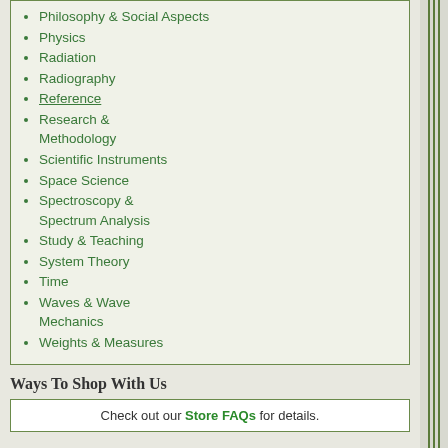Philosophy & Social Aspects
Physics
Radiation
Radiography
Reference
Research & Methodology
Scientific Instruments
Space Science
Spectroscopy & Spectrum Analysis
Study & Teaching
System Theory
Time
Waves & Wave Mechanics
Weights & Measures
Ways To Shop With Us
Check out our Store FAQs for details.
[Figure (photo): Book cover - partial, cropped on right. Dark background with text 'a po... to th... univ...' in white and orange/yellow]
I Am a Book. I Am a P...
By S...
Add to Cart
Most titles are on our...
[Figure (photo): E-Z Microbiology book cover - yellow background with red bar at top, 'BA... MICR...' text visible]
E-Z Microbiology (B...
By R...
Ema...